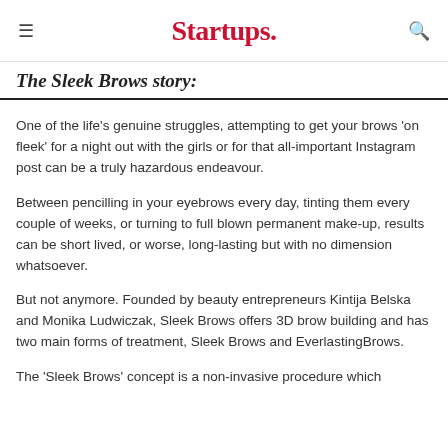Startups.
The Sleek Brows story:
One of the life's genuine struggles, attempting to get your brows 'on fleek' for a night out with the girls or for that all-important Instagram post can be a truly hazardous endeavour.
Between pencilling in your eyebrows every day, tinting them every couple of weeks, or turning to full blown permanent make-up, results can be short lived, or worse, long-lasting but with no dimension whatsoever.
But not anymore. Founded by beauty entrepreneurs Kintija Belska and Monika Ludwiczak, Sleek Brows offers 3D brow building and has two main forms of treatment, Sleek Brows and EverlastingBrows.
The 'Sleek Brows' concept is a non-invasive procedure which